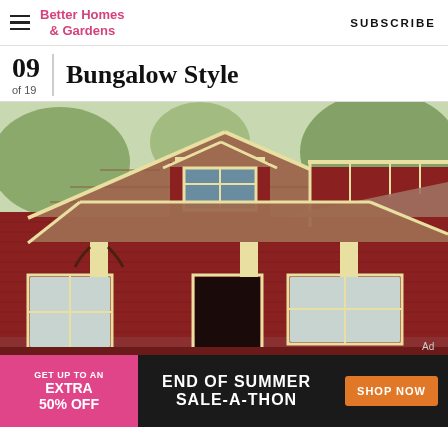Better Homes & Gardens | SUBSCRIBE
Bungalow Style
09 of 19
[Figure (photo): Photo of a red craftsman bungalow style house with cream trim, front porch with columns, and gabled roof]
GET UP TO AN EXTRA 50% OFF | END OF SUMMER SALE-A-THON | SHOP NOW